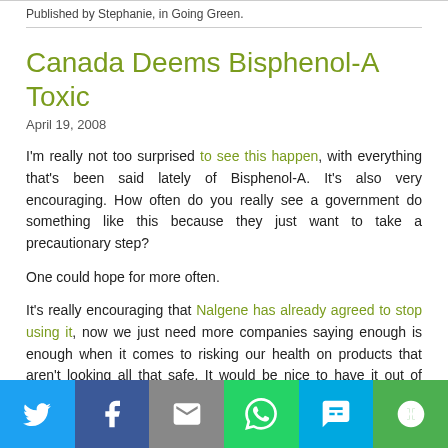Published by Stephanie, in Going Green.
Canada Deems Bisphenol-A Toxic
April 19, 2008
I'm really not too surprised to see this happen, with everything that's been said lately of Bisphenol-A. It's also very encouraging. How often do you really see a government do something like this because they just want to take a precautionary step?
One could hope for more often.
It's really encouraging that Nalgene has already agreed to stop using it, now we just need more companies saying enough is enough when it comes to risking our health on products that aren't looking all that safe. It would be nice to have it out of those plastics we do use, and out of the linings of cans.